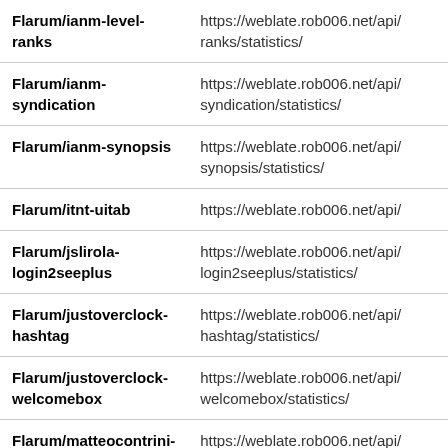| Component | URL |
| --- | --- |
| Flarum/ianm-level-ranks | https://weblate.rob006.net/api/ranks/statistics/ |
| Flarum/ianm-syndication | https://weblate.rob006.net/api/syndication/statistics/ |
| Flarum/ianm-synopsis | https://weblate.rob006.net/api/synopsis/statistics/ |
| Flarum/itnt-uitab | https://weblate.rob006.net/api/ |
| Flarum/jslirola-login2seeplus | https://weblate.rob006.net/api/login2seeplus/statistics/ |
| Flarum/justoverclock-hashtag | https://weblate.rob006.net/api/hashtag/statistics/ |
| Flarum/justoverclock-welcomebox | https://weblate.rob006.net/api/welcomebox/statistics/ |
| Flarum/matteocontrini- | https://weblate.rob006.net/api/ |